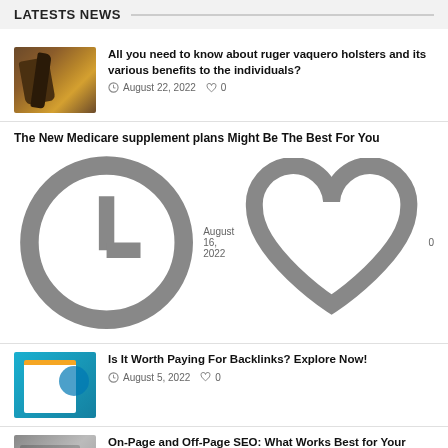LATESTS NEWS
All you need to know about ruger vaquero holsters and its various benefits to the individuals? — August 22, 2022  0
The New Medicare supplement plans Might Be The Best For You — August 16, 2022  0
Is It Worth Paying For Backlinks? Explore Now! — August 5, 2022  0
On-Page and Off-Page SEO: What Works Best for Your Business? — July 16, 2022  0
Here's Why You Should Get tantric London Massage From A Professional — July 5, 2022  0